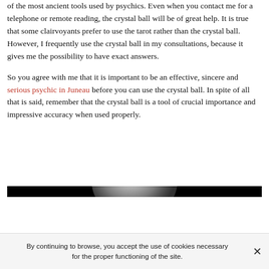of the most ancient tools used by psychics. Even when you contact me for a telephone or remote reading, the crystal ball will be of great help. It is true that some clairvoyants prefer to use the tarot rather than the crystal ball. However, I frequently use the crystal ball in my consultations, because it gives me the possibility to have exact answers.
So you agree with me that it is important to be an effective, sincere and serious psychic in Juneau before you can use the crystal ball. In spite of all that is said, remember that the crystal ball is a tool of crucial importance and impressive accuracy when used properly.
[Figure (photo): A crystal ball photographed against a black background, showing the upper curved portion of a translucent glass sphere with light reflections.]
By continuing to browse, you accept the use of cookies necessary for the proper functioning of the site.